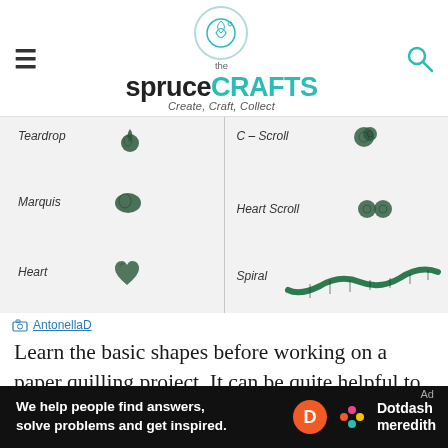the spruce CRAFTS — Create, Craft, Collect
[Figure (photo): Six paper quilling shapes displayed on white backgrounds in a two-column grid: left column shows Teardrop, Marquis, Heart; right column shows C-Scroll, Heart Scroll, Spiral]
AntonellaD
Learn the basic shapes before working on a paper quilling project. It can be quite helpful to make a master page of basic paper quilling shapes.
[Figure (other): Dotdash Meredith advertisement bar: 'We help people find answers, solve problems and get inspired.']